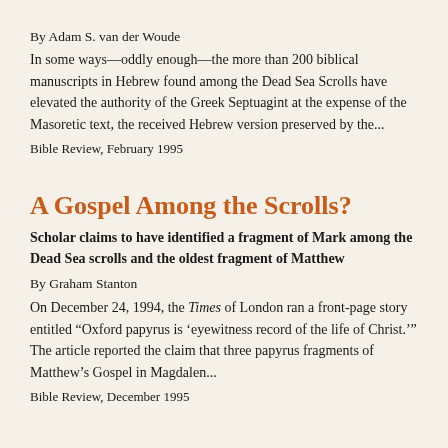By Adam S. van der Woude
In some ways—oddly enough—the more than 200 biblical manuscripts in Hebrew found among the Dead Sea Scrolls have elevated the authority of the Greek Septuagint at the expense of the Masoretic text, the received Hebrew version preserved by the...
Bible Review, February 1995
A Gospel Among the Scrolls?
Scholar claims to have identified a fragment of Mark among the Dead Sea scrolls and the oldest fragment of Matthew
By Graham Stanton
On December 24, 1994, the Times of London ran a front-page story entitled “Oxford papyrus is ‘eyewitness record of the life of Christ.’” The article reported the claim that three papyrus fragments of Matthew’s Gospel in Magdalen...
Bible Review, December 1995